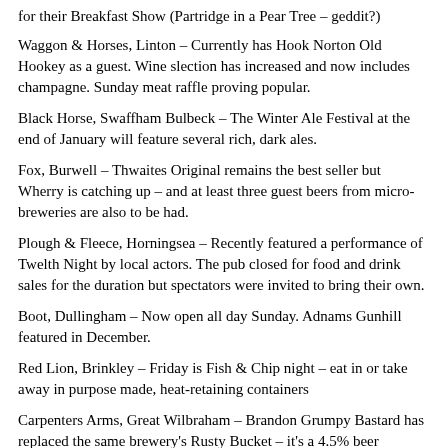for their Breakfast Show (Partridge in a Pear Tree – geddit?)
Waggon & Horses, Linton – Currently has Hook Norton Old Hookey as a guest. Wine slection has increased and now includes champagne. Sunday meat raffle proving popular.
Black Horse, Swaffham Bulbeck – The Winter Ale Festival at the end of January will feature several rich, dark ales.
Fox, Burwell – Thwaites Original remains the best seller but Wherry is catching up – and at least three guest beers from micro-breweries are also to be had.
Plough & Fleece, Horningsea – Recently featured a performance of Twelth Night by local actors. The pub closed for food and drink sales for the duration but spectators were invited to bring their own.
Boot, Dullingham – Now open all day Sunday. Adnams Gunhill featured in December.
Red Lion, Brinkley – Friday is Fish & Chip night – eat in or take away in purpose made, heat-retaining containers
Carpenters Arms, Great Wilbraham – Brandon Grumpy Bastard has replaced the same brewery's Rusty Bucket – it's a 4.5% beer